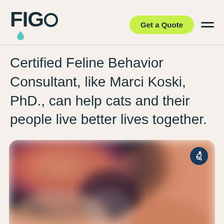FIGO
Certified Feline Behavior Consultant, like Marci Koski, PhD., can help cats and their people live better lives together.
[Figure (photo): Blurred close-up photo of cats, with warm orange and dark tones, rounded corners, displayed on a cream/beige background]